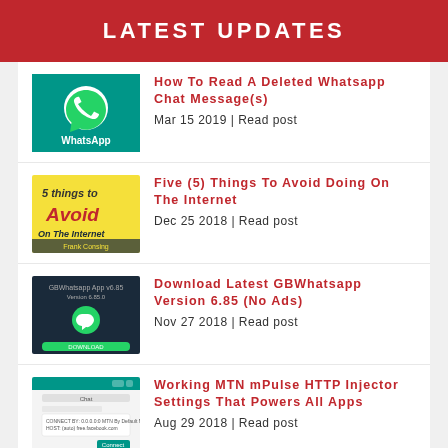LATEST UPDATES
How To Read A Deleted Whatsapp Chat Message(s) | Mar 15 2019 | Read post
Five (5) Things To Avoid Doing On The Internet | Dec 25 2018 | Read post
Download Latest GBWhatsapp Version 6.85 (No Ads) | Nov 27 2018 | Read post
Working MTN mPulse HTTP Injector Settings That Powers All Apps | Aug 29 2018 | Read post
MTN Unlimited Free Browsing Cheat Is Back On HTTP Injector